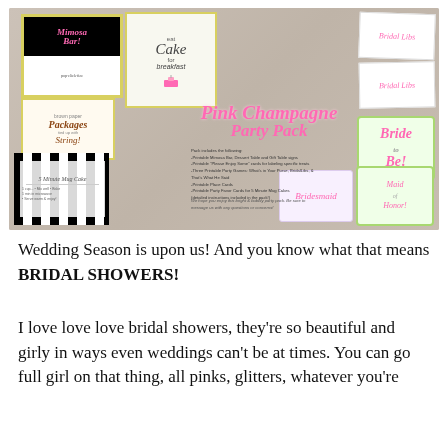[Figure (photo): Pink Champagne Party Pack product collage showing various printable party cards and signs including Mimosa Bar, Eat Cake for Breakfast, Brown Paper Packages, Bridal Libs cards, Envelopes, 5 Minute Mug Cake recipe, Bride to Be, Bridesmaid, and Maid of Honor cards arranged on a gray wood background, with 'Pink Champagne Party Pack' in pink script and description text.]
Wedding Season is upon us! And you know what that means BRIDAL SHOWERS!
I love love love bridal showers, they're so beautiful and girly in ways even weddings can't be at times. You can go full girl on that thing, all pinks, glitters, whatever you're